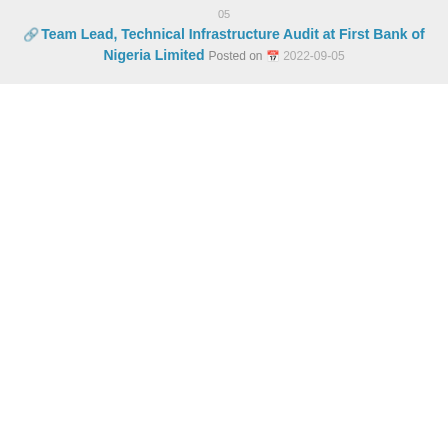05
Team Lead, Technical Infrastructure Audit at First Bank of Nigeria Limited Posted on 2022-09-05